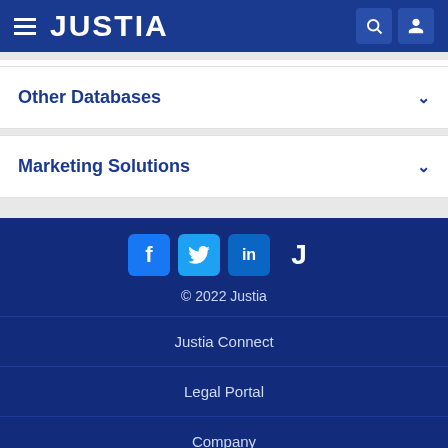JUSTIA
Other Databases
Marketing Solutions
[Figure (logo): Justia social media icons: Facebook, Twitter, LinkedIn, Justia J]
© 2022 Justia
Justia Connect
Legal Portal
Company
Help